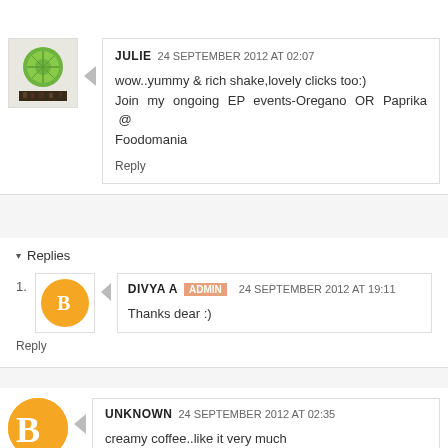JULIE  24 SEPTEMBER 2012 AT 02:07
wow..yummy & rich shake,lovely clicks too:)
Join my ongoing EP events-Oregano OR Paprika @ Foodomania
Reply
▾ Replies
1. DIVYA A  ADMIN  24 SEPTEMBER 2012 AT 19:11
Thanks dear :)
Reply
UNKNOWN  24 SEPTEMBER 2012 AT 02:35
creamy coffee..like it very much